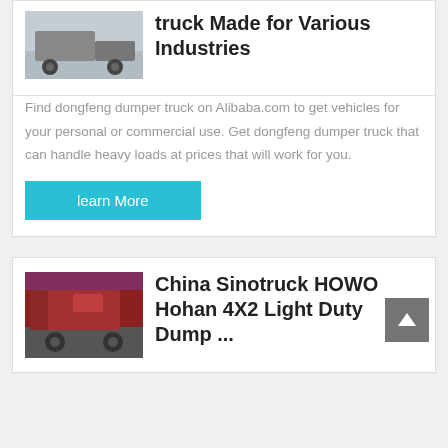[Figure (photo): Photo of a truck/dumper truck, partial view at the top of the first card]
truck Made for Various Industries
Find dongfeng dumper truck on Alibaba.com to get vehicles for your personal or commercial use. Get dongfeng dumper truck that can handle heavy loads at prices that will work for you.
learn More
[Figure (photo): Photo of a red China Sinotruck HOWO Hohan truck, rear view]
China Sinotruck HOWO Hohan 4X2 Light Duty Dump ...